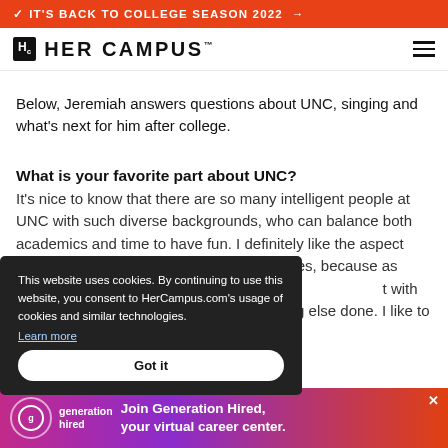IT'S BACK TO COLLEGE SEASON 2022 →
HER CAMPUS
Below, Jeremiah answers questions about UNC, singing and what's next for him after college.
What is your favorite part about UNC?
It's nice to know that there are so many intelligent people at UNC with such diverse backgrounds, who can balance both academics and time to have fun. I definitely like the aspect that (UNC) is different from other universities, because as strong as [the academics are], there are people out on the quad. To know that I'm able to connect with other people as well... [and] is still getting everything else done. I like to [consider myself] studying diligently, but I recognize the
This website uses cookies. By continuing to use this website, you consent to HerCampus.com's usage of cookies and similar technologies. Learn more
Got it
[Figure (advertisement): Generation Hired advertisement banner - Join Generation Hired, your virtual career center.]